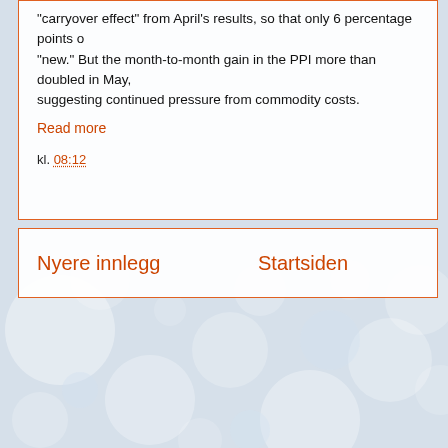"carryover effect" from April's results, so that only 6 percentage points of "new." But the month-to-month gain in the PPI more than doubled in May, suggesting continued pressure from commodity costs.
Read more
kl. 08:12
Nyere innlegg
Startsiden